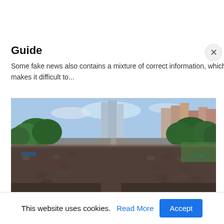Guide
Some fake news also contains a mixture of correct information, which makes it difficult to...
[Figure (photo): Aerial view of a large outdoor crowd gathered in an urban area with trees and city buildings in the background]
This website uses cookies. Read More Accept